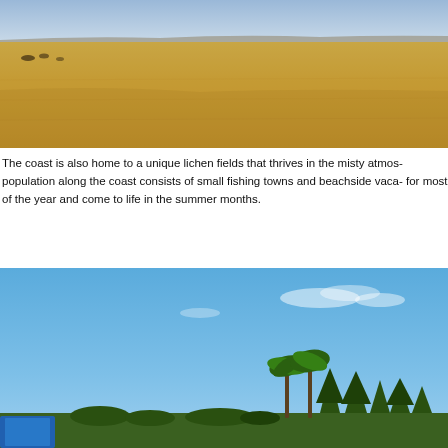[Figure (photo): Wide panoramic photograph of a flat, arid desert landscape with golden-brown dry grassland or scrubland under a pale blue sky. A few dark objects or animals are visible in the distance on the left.]
The coast is also home to a unique lichen fields that thrives in the misty atmos- population along the coast consists of small fishing towns and beachside vaca- for most of the year and come to life in the summer months.
[Figure (photo): Photograph of a coastal or park scene with a bright blue sky and a few light clouds. A row of trees including palm trees and pine-type trees is visible along the bottom of the frame, with what appears to be a blue structure or tent partially visible at lower left.]